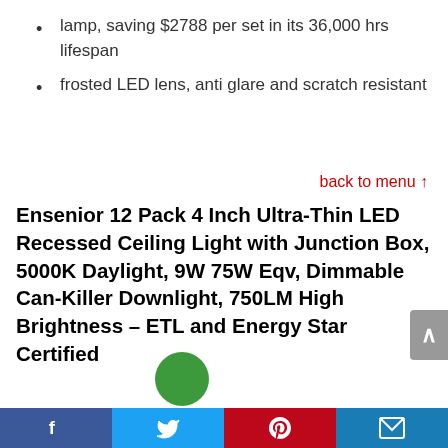lamp, saving $2788 per set in its 36,000 hrs lifespan
frosted LED lens, anti glare and scratch resistant
back to menu ↑
Ensenior 12 Pack 4 Inch Ultra-Thin LED Recessed Ceiling Light with Junction Box, 5000K Daylight, 9W 75W Eqv, Dimmable Can-Killer Downlight, 750LM High Brightness – ETL and Energy Star Certified